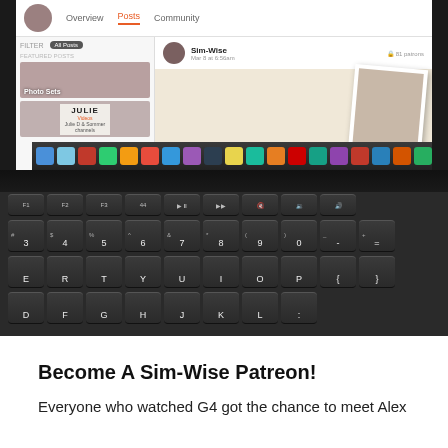[Figure (screenshot): Screenshot of a Patreon page (Sim-Wise) showing Posts tab with Photo Sets and Julie Videos thumbnails, plus a Mac dock at the bottom, overlaid on top of a MacBook keyboard photographed from above.]
Become A Sim-Wise Patreon!
Everyone who watched G4 got the chance to meet Alex